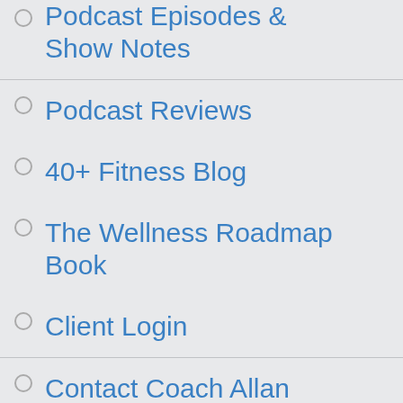Podcast Episodes & Show Notes
Podcast Reviews
40+ Fitness Blog
The Wellness Roadmap Book
Client Login
Contact Coach Allan
Join Our Facebook Group
Follow Us On Twitter